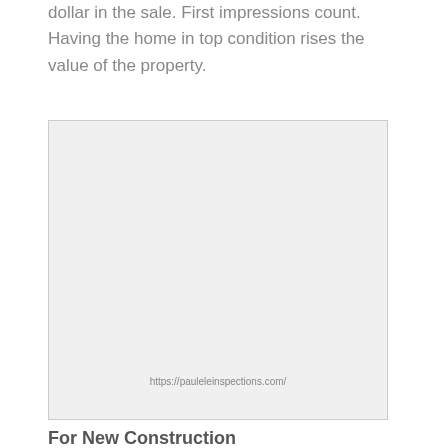dollar in the sale. First impressions count. Having the home in top condition rises the value of the property.
[Figure (other): Placeholder image box with URL https://pauleleinspections.com/ shown at the bottom]
For New Construction